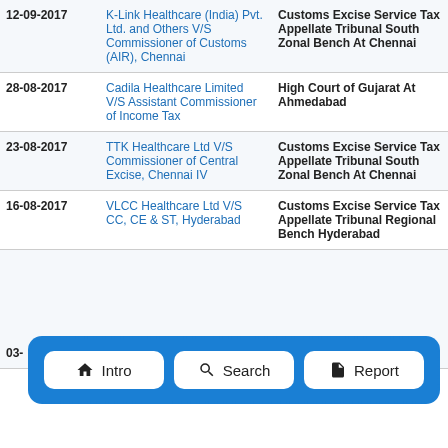| Date | Case | Court |
| --- | --- | --- |
| 12-09-2017 | K-Link Healthcare (India) Pvt. Ltd. and Others V/S Commissioner of Customs (AIR), Chennai | Customs Excise Service Tax Appellate Tribunal South Zonal Bench At Chennai |
| 28-08-2017 | Cadila Healthcare Limited V/S Assistant Commissioner of Income Tax | High Court of Gujarat At Ahmedabad |
| 23-08-2017 | TTK Healthcare Ltd V/S Commissioner of Central Excise, Chennai IV | Customs Excise Service Tax Appellate Tribunal South Zonal Bench At Chennai |
| 16-08-2017 | VLCC Healthcare Ltd V/S CC, CE & ST, Hyderabad | Customs Excise Service Tax Appellate Tribunal Regional Bench Hyderabad |
| 03-08-2017 | M/s. Wipro GE Healthcare | High Court of Karnataka |
[Figure (infographic): Navigation bar overlay with three buttons: Intro (home icon), Search (search icon), Report (document icon)]